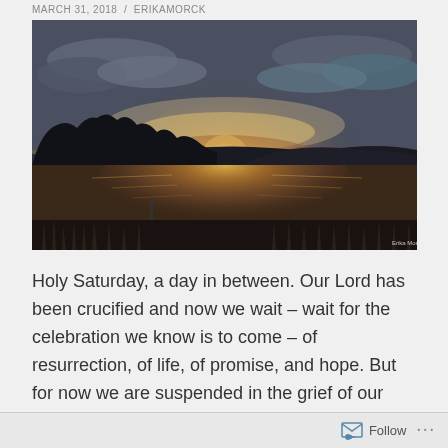MARCH 31, 2018 / ERIKAMORCK
[Figure (photo): Sunset over a lake or pond with silhouetted trees and hills in the background, dramatic clouds with golden light reflecting on the water surface, marsh grasses in the foreground.]
Holy Saturday, a day in between. Our Lord has been crucified and now we wait – wait for the celebration we know is to come – of resurrection, of life, of promise, and hope. But for now we are suspended in the grief of our Lord's death – cognizant of our fallen ways. With a
Follow